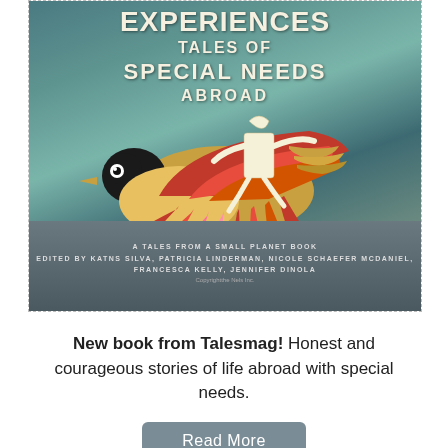[Figure (illustration): Book cover of 'Experiences: Tales of Special Needs Abroad' — a Tales from a Small Planet Book edited by Katns Silva, Patricia Linderman, Nicole Schaefer McDaniel, Francesca Kelly, Jennifer Dinola. Features a colorful collage of a bird with red and pink feathers flying, with a paper-cut figure of a person riding on its back, against a teal/green watercolor background with rocky ground below.]
New book from Talesmag! Honest and courageous stories of life abroad with special needs.
Read More